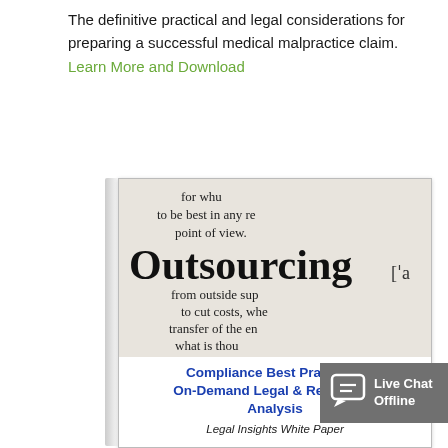The definitive practical and legal considerations for preparing a successful medical malpractice claim. Learn More and Download
[Figure (photo): Dictionary entry for the word 'Outsourcing' shown in close-up photograph. Text visible includes: 'for whu', 'to be best in any re', 'point of view.', 'Outsourcing ['a', 'from outside sup', 'to cut costs, whe', 'transfer of the en', 'what is thou']
Compliance Best Practices: On-Demand Legal & Regulatory Analysis
Legal Insights White Paper